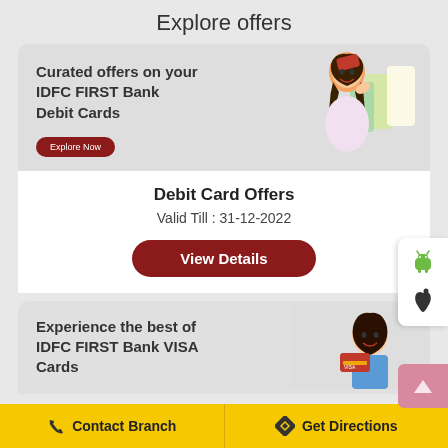Explore offers
[Figure (screenshot): Promotional banner showing a girl with shopping bags and text: Curated offers on your IDFC FIRST Bank Debit Cards, with Explore Now button]
Debit Card Offers
Valid Till : 31-12-2022
[Figure (screenshot): View Details button (dark red rounded button)]
[Figure (screenshot): Side panel with Android and Apple icons and a scroll-to-top arrow]
[Figure (screenshot): Second promotional banner with woman holding VISA card and text: Experience the best of IDFC FIRST Bank VISA Cards]
Contact Branch   Get Directions